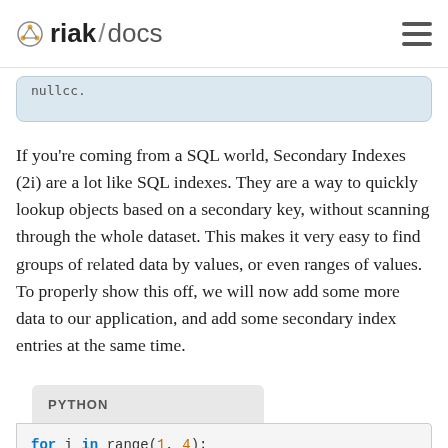riak/docs
If you're coming from a SQL world, Secondary Indexes (2i) are a lot like SQL indexes. They are a way to quickly lookup objects based on a secondary key, without scanning through the whole dataset. This makes it very easy to find groups of related data by values, or even ranges of values. To properly show this off, we will now add some more data to our application, and add some secondary index entries at the same time.
PYTHON
for i in range(1, 4):
    order = order_bucket.get(str(i))